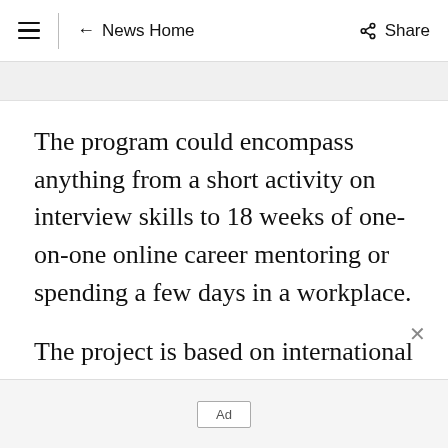≡  ← News Home  Share
The program could encompass anything from a short activity on interview skills to 18 weeks of one-on-one online career mentoring or spending a few days in a workplace.
The project is based on international evidence, which finds that when young people have multiple exposures to the world of work during high school, it positively impacts their post-
Ad